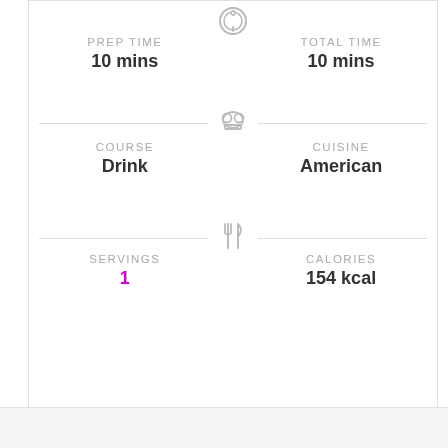PREP TIME
10 mins
TOTAL TIME
10 mins
COURSE
Drink
CUISINE
American
SERVINGS
1
CALORIES
154 kcal